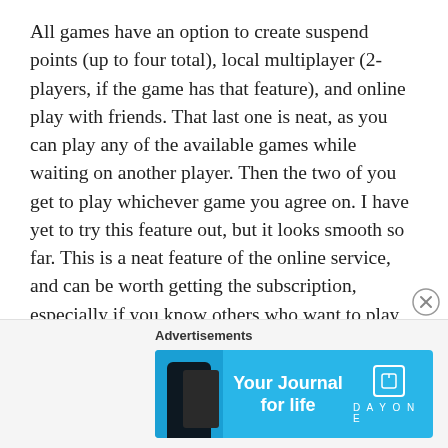All games have an option to create suspend points (up to four total), local multiplayer (2-players, if the game has that feature), and online play with friends. That last one is neat, as you can play any of the available games while waiting on another player. Then the two of you get to play whichever game you agree on. I have yet to try this feature out, but it looks smooth so far. This is a neat feature of the online service, and can be worth getting the subscription, especially if you know others who want to play these games with you. The online service also allows online play for all Switch games that have it, plus cloud storage for most switch
[Figure (other): Close/dismiss button (circled X icon) in the bottom-right area of the content]
Advertisements
[Figure (infographic): Advertisement banner for Day One journal app with blue background, phone illustration on left, tagline 'Your Journal for life' in center, and Day One logo on right]